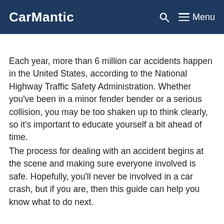CarMantic | Menu
Each year, more than 6 million car accidents happen in the United States, according to the National Highway Traffic Safety Administration. Whether you've been in a minor fender bender or a serious collision, you may be too shaken up to think clearly, so it's important to educate yourself a bit ahead of time.
The process for dealing with an accident begins at the scene and making sure everyone involved is safe. Hopefully, you'll never be involved in a car crash, but if you are, then this guide can help you know what to do next.